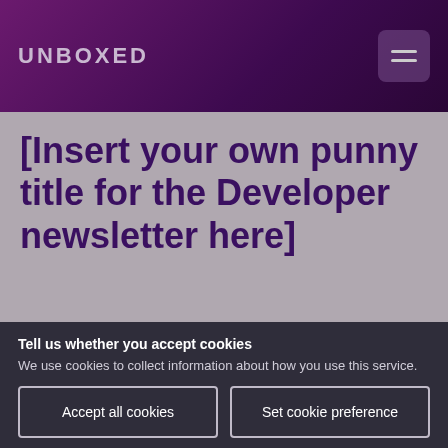UNBOXED
[Insert your own punny title for the Developer newsletter here]
Tell us whether you accept cookies
We use cookies to collect information about how you use this service.
Accept all cookies
Set cookie preference